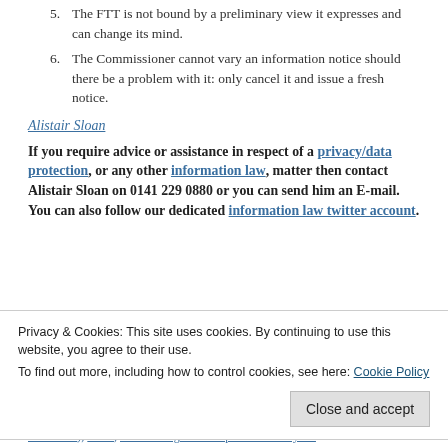5. The FTT is not bound by a preliminary view it expresses and can change its mind.
6. The Commissioner cannot vary an information notice should there be a problem with it: only cancel it and issue a fresh notice.
Alistair Sloan
If you require advice or assistance in respect of a privacy/data protection, or any other information law, matter then contact Alistair Sloan on 0141 229 0880 or you can send him an E-mail. You can also follow our dedicated information law twitter account.
Privacy & Cookies: This site uses cookies. By continuing to use this website, you agree to their use. To find out more, including how to control cookies, see here: Cookie Policy
Close and accept
Protection), UKIP, United Kingdom Independence Party -v-